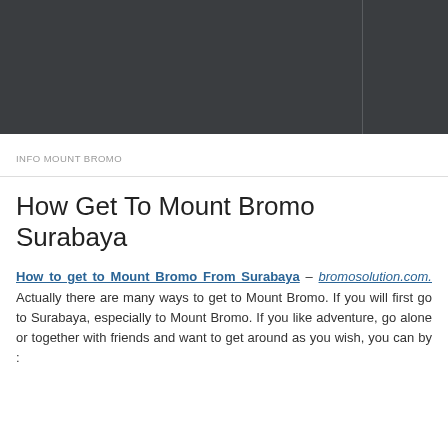[Figure (photo): Dark gray header banner with a faint vertical divider line near the right side]
INFO MOUNT BROMO
How Get To Mount Bromo Surabaya
How to get to Mount Bromo From Surabaya – bromosolution.com. Actually there are many ways to get to Mount Bromo. If you will first go to Surabaya, especially to Mount Bromo. If you like adventure, go alone or together with friends and want to get around as you wish, you can by :